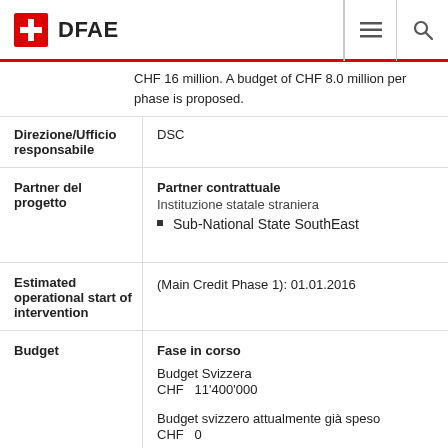DFAE
CHF 16 million. A budget of CHF 8.0 million per phase is proposed.
| Field | Value |
| --- | --- |
| Direzione/Ufficio responsabile | DSC |
| Partner del progetto | Partner contrattuale
Instituzione statale straniera
• Sub-National State SouthEast |
| Estimated operational start of intervention | (Main Credit Phase 1): 01.01.2016 |
| Budget | Fase in corso
Budget Svizzera
CHF  11'400'000
Budget svizzero attualmente già speso
CHF  0 |